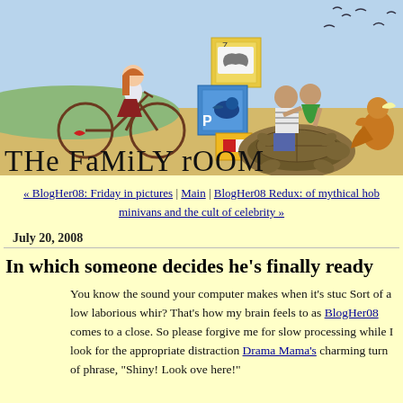[Figure (illustration): The Family Room blog header banner with illustrated children riding bicycle and turtle, alphabet blocks, birds in sky, desert landscape, title text 'The Family Room' in chalk-like font]
« BlogHer08: Friday in pictures | Main | BlogHer08 Redux: of mythical hob minivans and the cult of celebrity »
July 20, 2008
In which someone decides he's finally ready
You know the sound your computer makes when it's stuc Sort of a low laborious whir? That's how my brain feels to as BlogHer08 comes to a close. So please forgive me for slow processing while I look for the appropriate distraction Drama Mama's charming turn of phrase, "Shiny! Look ove here!"